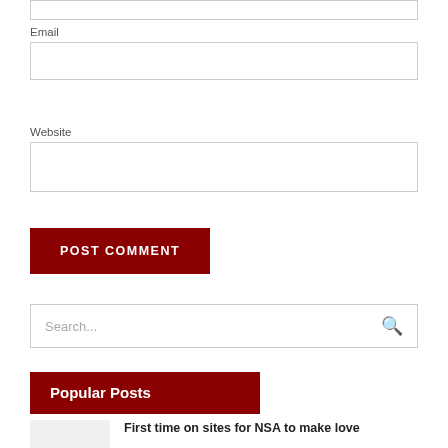Email
Website
POST COMMENT
Search...
Popular Posts
First time on sites for NSA to make love